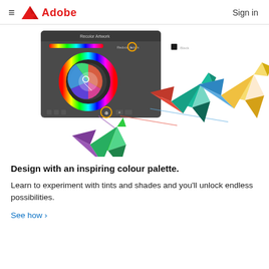Adobe  Sign in
[Figure (screenshot): Adobe colour palette tool screenshot showing a colour wheel with spectrum gradient, alongside three origami paper crane illustrations in green/purple, teal/pink, and yellow/blue colour schemes, connected by coloured lines from the colour picker tool.]
Design with an inspiring colour palette.
Learn to experiment with tints and shades and you'll unlock endless possibilities.
See how ›